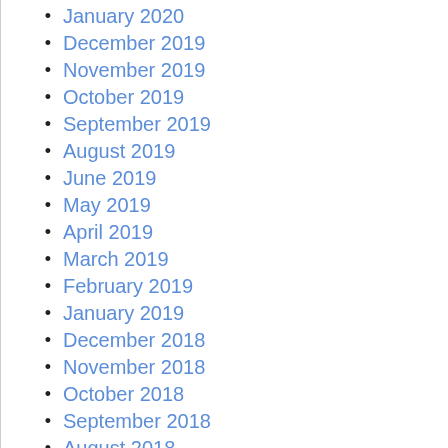January 2020
December 2019
November 2019
October 2019
September 2019
August 2019
June 2019
May 2019
April 2019
March 2019
February 2019
January 2019
December 2018
November 2018
October 2018
September 2018
August 2018
July 2018
June 2018